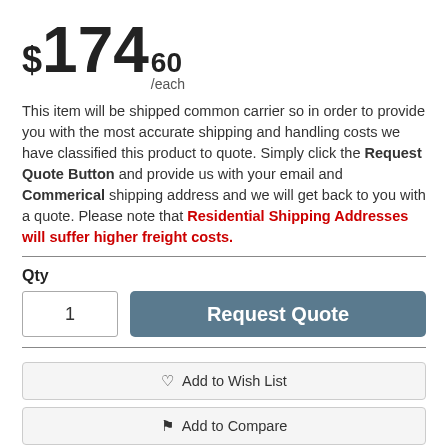$174.60 /each
This item will be shipped common carrier so in order to provide you with the most accurate shipping and handling costs we have classified this product to quote. Simply click the Request Quote Button and provide us with your email and Commerical shipping address and we will get back to you with a quote. Please note that Residential Shipping Addresses will suffer higher freight costs.
Qty
1
Request Quote
Add to Wish List
Add to Compare
Email